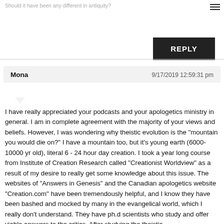Should it have been any different in antiquity?
REPLY
Mona   9/17/2019 12:59:31 pm
I have really appreciated your podcasts and your apologetics ministry in general. I am in complete agreement with the majority of your views and beliefs. However, I was wondering why theistic evolution is the "mountain you would die on?" I have a mountain too, but it's young earth (6000-10000 yr old), literal 6 - 24 hour day creation. I took a year long course from Institute of Creation Research called "Creationist Worldview" as a result of my desire to really get some knowledge about this issue. The websites of "Answers in Genesis" and the Canadian apologetics website "Creation.com" have been tremendously helpful, and I know they have been bashed and mocked by many in the evangelical world, which I really don't understand. They have ph.d scientists who study and offer viable answers to the critics. After studying the theistic